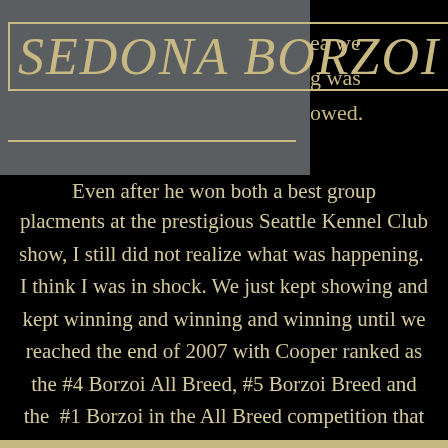SEDONA BORZOI
ea we
g was
owed.
Even after he won both a best group placments at the prestigious Seattle Kennel Club show, I still did not realize what was happening.  I think I was in shock. We just kept showing and kept winning and winning and winning until we reached the end of 2007 with Cooper ranked as the #4 Borzoi All Breed, #5 Borzoi Breed and the  #1 Borzoi in the All Breed competition that was handled by an owner not a professional.